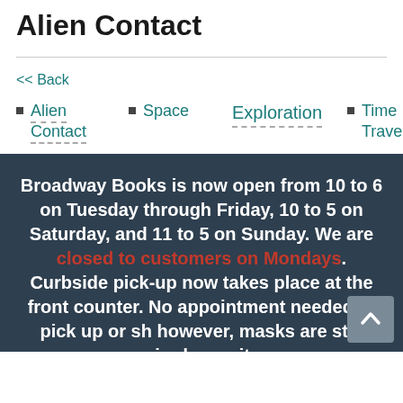Alien Contact
<< Back
Alien Contact
Space
Exploration
Time Travel
Broadway Books is now open from 10 to 6 on Tuesday through Friday, 10 to 5 on Saturday, and 11 to 5 on Sunday. We are closed to customers on Mondays. Curbside pick-up now takes place at the front counter. No appointment needed to pick up or sh however, masks are still required even it you